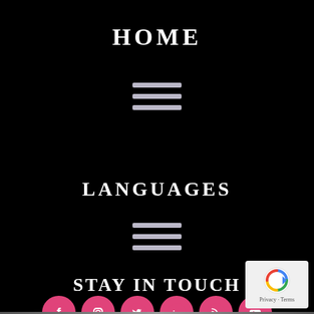HOME
[Figure (other): Hamburger menu icon (three horizontal bars)]
LANGUAGES
[Figure (other): Hamburger menu icon (three horizontal bars)]
STAY IN TOUCH
[Figure (other): Social media icons row: Facebook, Instagram, Twitter, LinkedIn, RSS, YouTube — pink circular buttons]
[Figure (other): Google reCAPTCHA badge with spinning arrows logo and Privacy / Terms links]